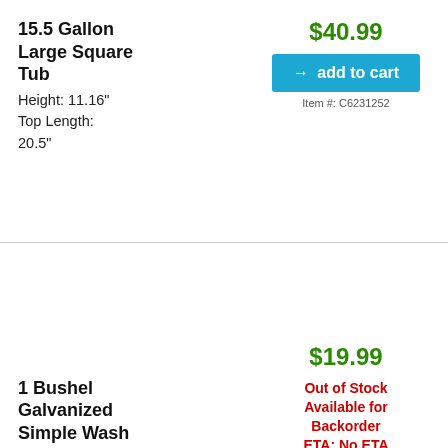15.5 Gallon Large Square Tub
Height: 11.16"
Top Length: 20.5"
$40.99
→ add to cart
Item #: C6231252
1 Bushel Galvanized Simple Wash Tub
Height: 11.5"
$19.99
Out of Stock Available for Backorder ETA: No ETA